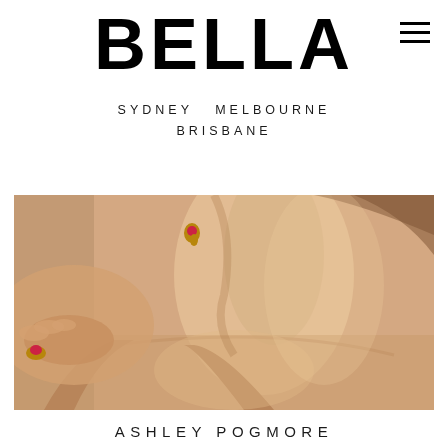BELLA
SYDNEY  MELBOURNE
BRISBANE
[Figure (photo): Close-up photo of a woman's neck, shoulder, and décolletage. She is wearing a tan/nude ribbed tank top and gold earrings with pink/red gemstones. Her hand with a gold and red gem ring rests on her shoulder. Warm beige background.]
ASHLEY POGMORE